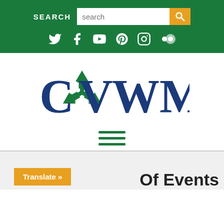[Figure (screenshot): Website header with green background containing a search bar with orange search button, and social media icons (Twitter, Facebook, YouTube, Pinterest, Instagram, Flickr)]
[Figure (logo): CVWMA logo with green recycling symbol integrated into the letters C and V, and blue text reading WMA]
[Figure (other): Hamburger menu icon with three green horizontal lines]
Translate »
Of Events